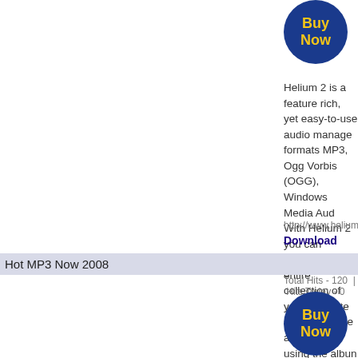[Figure (illustration): Blue circular Buy Now button with yellow text]
Helium 2 is a feature rich, yet easy-to-use audio manager that supports audio formats MP3, Ogg Vorbis (OGG), Windows Media Audio (WMA), FLAC and more. With Helium 2 you can catalog your entire collection of audio files, create lists of your favourite songs, browse all albums using the album browser, lookup song lyrics and more. Automatically apply artist, album and lyrics information to your audio files by using information from CDDB, from the filenames or by using the built-in Tag Editor. Rename your audio files and create optional folder structures. Burn any or all of your audio files to CD-R/CD-RW. Create customized reports and statistics of your audio collection. Manage multiple playlists and play your audio files using the built-in audio player. Helium 2 lets you work with audio files stored on any connected USB drives or ZIP drives or any other removable media. Helium 2 is optimized and is fast to work with, even with large audio file collections.
http://www.helium2.com/
Download
Hot MP3 Now 2008
Total Hits - 120  |  Hits Today - 0
[Figure (illustration): Blue circular Buy Now button with yellow text]
Hot MP3 Now - Download FREE MP3s, Movies, Games... Join over 1 million satisfied customers who are enjoying the most effective digital media service available today.
http://www.msisoftware.com/hot-mp3-now.html